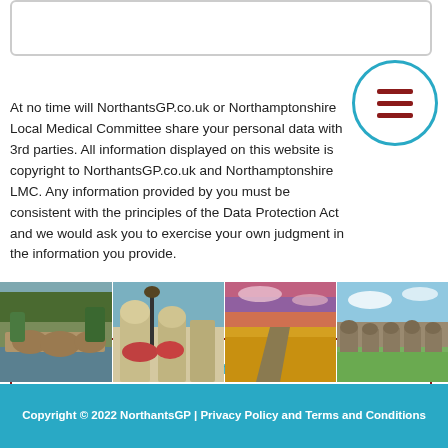At no time will NorthantsGP.co.uk or Northamptonshire Local Medical Committee share your personal data with 3rd parties. All information displayed on this website is copyright to NorthantsGP.co.uk and Northamptonshire LMC. Any information provided by you must be consistent with the principles of the Data Protection Act and we would ask you to exercise your own judgment in the information you provide.
Send
[Figure (photo): Four landscape photos of Northamptonshire: a stone bridge over a river, a Victorian lamp post with flowers on an arched building, a country road through golden wheat fields at sunset, and a large brick viaduct in green countryside.]
Copyright © 2022 NorthantsGP | Privacy Policy and Terms and Conditions